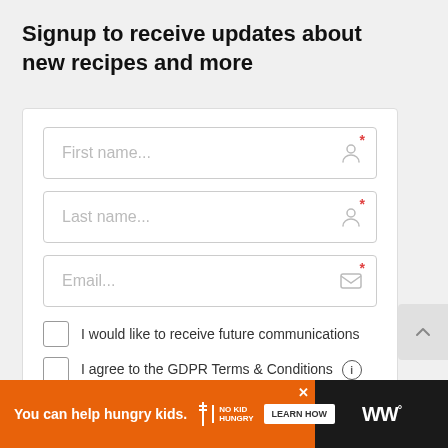Signup to receive updates about new recipes and more
[Figure (screenshot): Web signup form with fields for First name, Last name, Email, two checkboxes for communications consent and GDPR terms, and a Submit button]
[Figure (infographic): Orange advertisement banner: 'You can help hungry kids. NO KID HUNGRY - LEARN HOW' with dark right side showing WW logo]